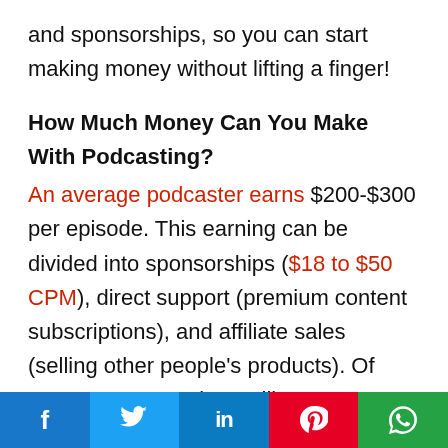and sponsorships, so you can start making money without lifting a finger!
How Much Money Can You Make With Podcasting?
An average podcaster earns $200-$300 per episode. This earning can be divided into sponsorships ($18 to $50 CPM), direct support (premium content subscriptions), and affiliate sales (selling other people’s products). Of course, your earnings will
Social share bar: Facebook, Twitter, LinkedIn, Pinterest, WhatsApp